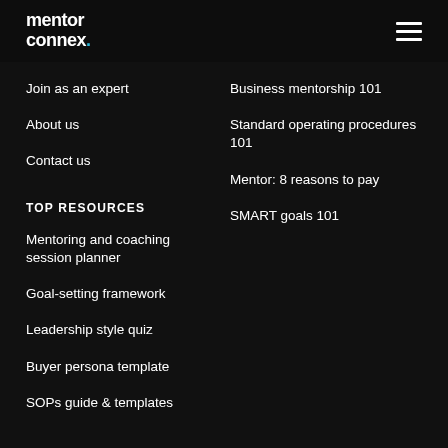[Figure (logo): mentor connex. logo in white with teal period]
Join as an expert
Business mentorship 101
About us
Standard operating procedures 101
Contact us
Mentor: 8 reasons to pay
SMART goals 101
TOP RESOURCES
Mentoring and coaching session planner
Goal-setting framework
Leadership style quiz
Buyer persona template
SOPs guide & templates